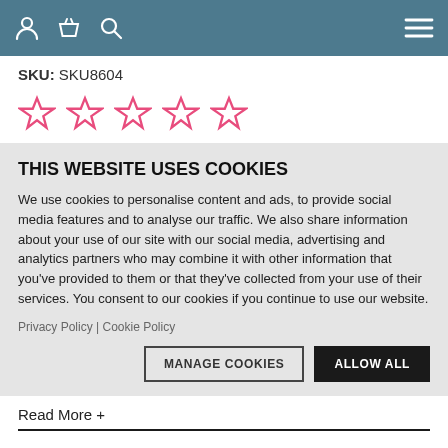Navigation bar with user, basket, search icons and hamburger menu
SKU: SKU8604
[Figure (other): Five empty pink/red star rating icons]
THIS WEBSITE USES COOKIES
We use cookies to personalise content and ads, to provide social media features and to analyse our traffic. We also share information about your use of our site with our social media, advertising and analytics partners who may combine it with other information that you've provided to them or that they've collected from your use of their services. You consent to our cookies if you continue to use our website.
Privacy Policy | Cookie Policy
MANAGE COOKIES   ALLOW ALL
Read More +